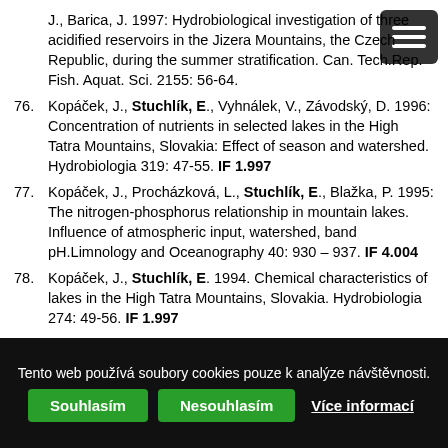J., Barica, J. 1997: Hydrobiological investigation of three acidified reservoirs in the Jizera Mountains, the Czech Republic, during the summer stratification. Can. Tech.Rep. Fish. Aquat. Sci. 2155: 56-64.
76. Kopáček, J., Stuchlík, E., Vyhnálek, V., Závodský, D. 1996: Concentration of nutrients in selected lakes in the High Tatra Mountains, Slovakia: Effect of season and watershed. Hydrobiologia 319: 47-55. IF 1.997
77. Kopáček, J., Procházková, L., Stuchlík, E., Blažka, P. 1995: The nitrogen-phosphorus relationship in mountain lakes. Influence of atmospheric input, watershed, band pH.Limnology and Oceanography 40: 930 – 937. IF 4.004
78. Kopáček, J., Stuchlík, E. 1994. Chemical characteristics of lakes in the High Tatra Mountains, Slovakia. Hydrobiologia 274: 49-56. IF 1.997
79. Fott, J., Pražáková, M., Stuchlík, E., Stuchlíková, Z. 1994.
Tento web používá soubory cookies pouze k analýze návštěvnosti.
Souhlasím | Nesouhlasím | Více informací